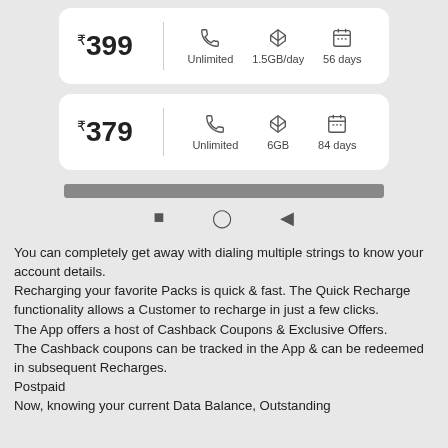[Figure (infographic): Mobile recharge plan card showing ₹399 price with Unlimited calls, 1.5GB/day data, 56 days validity]
[Figure (infographic): Mobile recharge plan card showing ₹379 price with Unlimited calls, 6GB data, 84 days validity]
[Figure (screenshot): Android navigation bar with dark progress bar and back/home/recents buttons]
You can completely get away with dialing multiple strings to know your account details. Recharging your favorite Packs is quick & fast. The Quick Recharge functionality allows a Customer to recharge in just a few clicks. The App offers a host of Cashback Coupons & Exclusive Offers. The Cashback coupons can be tracked in the App & can be redeemed in subsequent Recharges. Postpaid Now, knowing your current Data Balance, Outstanding